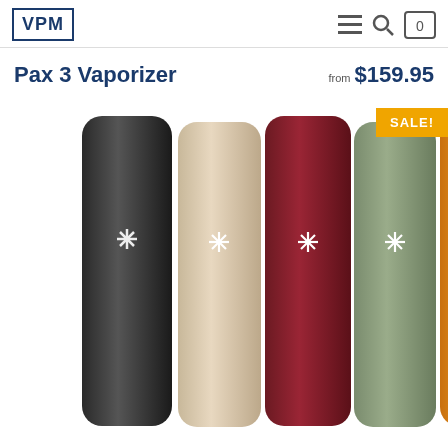VPM
Pax 3 Vaporizer
from $159.95
[Figure (photo): Five Pax 3 vaporizer devices side by side in five colors: black, champagne/beige, maroon/burgundy, sage green, and orange/amber. Each has a small four-pointed star logo on the front.]
SALE!